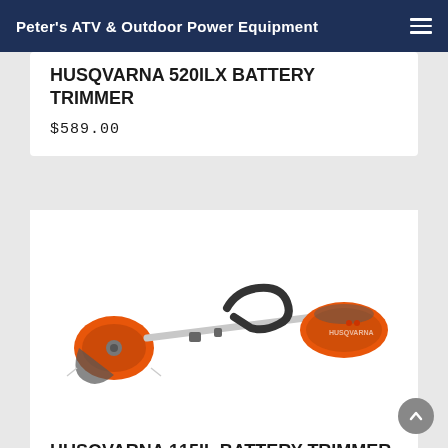Peter's ATV & Outdoor Power Equipment
HUSQVARNA 520ILX BATTERY TRIMMER
$589.00
[Figure (photo): Husqvarna 115iL battery string trimmer with orange body, straight shaft, D-handle, and rotating trimmer head]
HUSQVARNA 115IL BATTERY TRIMMER-KIT
$495.00